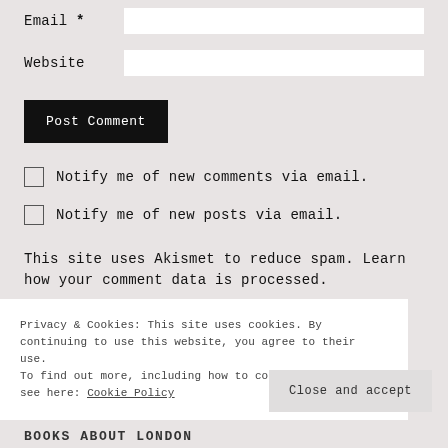Email *
Website
Post Comment
Notify me of new comments via email.
Notify me of new posts via email.
This site uses Akismet to reduce spam. Learn how your comment data is processed.
Privacy & Cookies: This site uses cookies. By continuing to use this website, you agree to their use.
To find out more, including how to control cookies, see here: Cookie Policy
Close and accept
BOOKS ABOUT LONDON